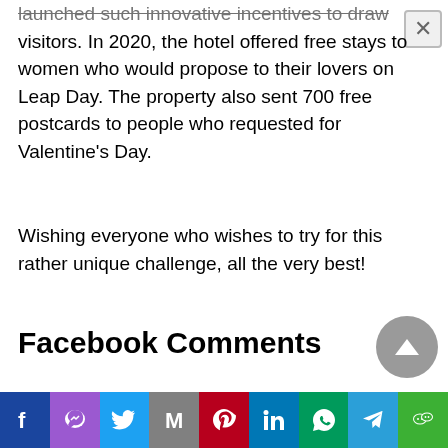launched such innovative incentives to draw visitors. In 2020, the hotel offered free stays to women who would propose to their lovers on Leap Day. The property also sent 700 free postcards to people who requested for Valentine's Day.
Wishing everyone who wishes to try for this rather unique challenge, all the very best!
Facebook Comments